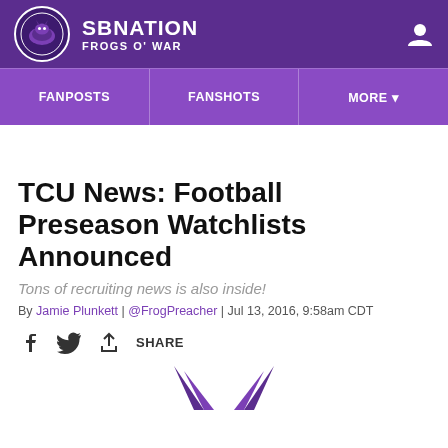SB NATION / FROGS O' WAR
[Figure (logo): SB Nation Frogs O' War website header with purple background, circular logo, site name, Fanposts, Fanshots, More navigation]
TCU News: Football Preseason Watchlists Announced
Tons of recruiting news is also inside!
By Jamie Plunkett | @FrogPreacher | Jul 13, 2016, 9:58am CDT
[Figure (other): Social share icons: Facebook, Twitter, Share button]